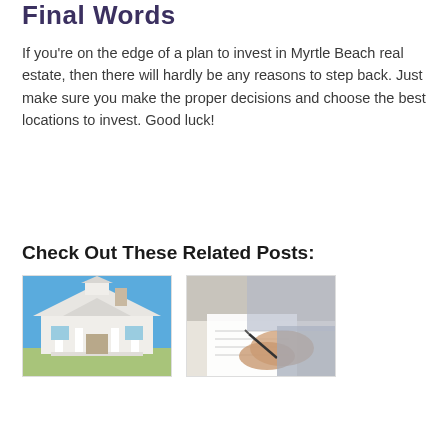Final Words
If you're on the edge of a plan to invest in Myrtle Beach real estate, then there will hardly be any reasons to step back. Just make sure you make the proper decisions and choose the best locations to invest. Good luck!
Check Out These Related Posts:
[Figure (photo): White house with columns against a blue sky]
[Figure (photo): Person writing with a pen, close-up shot]